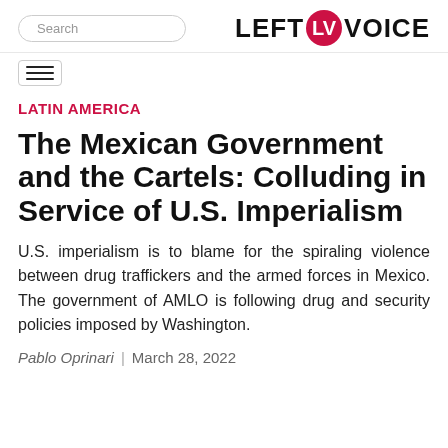Search | LEFT VOICE
LATIN AMERICA
The Mexican Government and the Cartels: Colluding in Service of U.S. Imperialism
U.S. imperialism is to blame for the spiraling violence between drug traffickers and the armed forces in Mexico. The government of AMLO is following drug and security policies imposed by Washington.
Pablo Oprinari  |  March 28, 2022